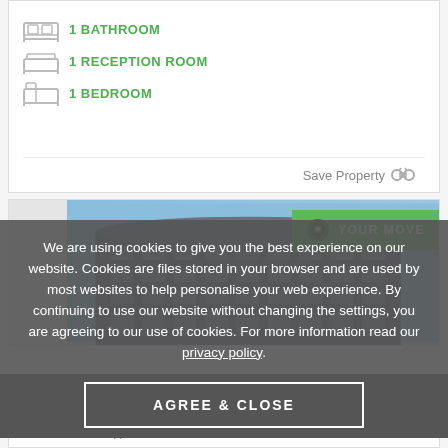1 BATHROOM
1 RECEPTION ROOM
1 BEDROOM
Save Property
[Figure (photo): Exterior photograph of a modern multi-storey building with YOUR MOVE agency badge overlay]
We are using cookies to give you the best experience on our website. Cookies are files stored in your browser and are used by most websites to help personalise your web experience. By continuing to use our website without changing the settings, you are agreeing to our use of cookies. For more information read our privacy policy.
AGREE & CLOSE
STARTING PRICE*
£60,000.00
Reservation Fee Applies